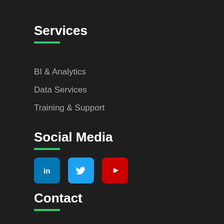Services
BI & Analytics
Data Services
Training & Support
Social Media
[Figure (infographic): Three social media icon buttons: LinkedIn (blue), Twitter (light blue), YouTube (red)]
Contact
8920 Business Park Dr Suite 250, Austin, TX 78759
833-GoVayam (468-2926)